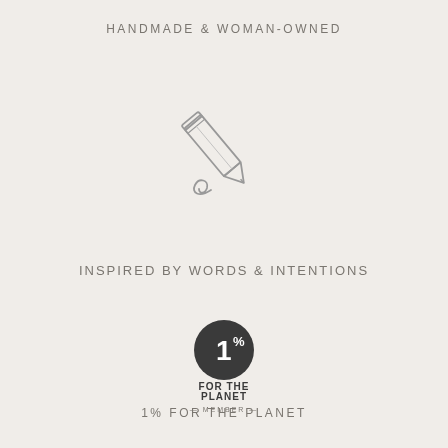HANDMADE & WOMAN-OWNED
[Figure (illustration): Line art illustration of a decorative pencil with a curl/swirl at the base]
INSPIRED BY WORDS & INTENTIONS
[Figure (logo): 1% For The Planet circular logo — dark circle with '1%' in white, text 'FOR THE PLANET' below in bold dark letters, 'MEMBER' in small text beneath]
1% FOR THE PLANET